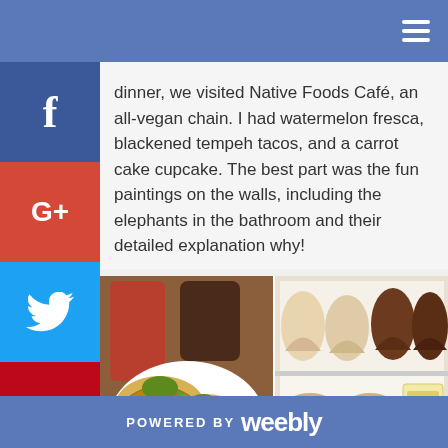Navigation bar with hamburger menu
dinner, we visited Native Foods Café, an all-vegan chain. I had watermelon fresca, blackened tempeh tacos, and a carrot cake cupcake. The best part was the fun paintings on the walls, including the elephants in the bathroom and their detailed explanation why!
[Figure (photo): Left: Plate of vegan tacos with guacamole, tomatoes, lettuce, cheese on tostadas with a pickle on the side; a red drink in the background. Right: Display case of cupcakes and pastries including oatmeal cream pie and sticky toffee cake.]
POWERED BY weebly